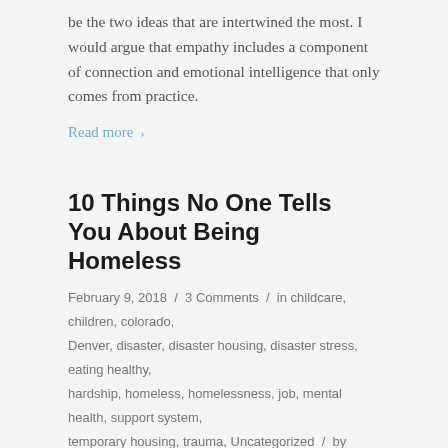be the two ideas that are intertwined the most. I would argue that empathy includes a component of connection and emotional intelligence that only comes from practice.
Read more >
10 Things No One Tells You About Being Homeless
February 9, 2018 / 3 Comments / in childcare, children, colorado, Denver, disaster, disaster housing, disaster stress, eating healthy, hardship, homeless, homelessness, job, mental health, support system, temporary housing, trauma, Uncategorized / by Heather Korth
Part 2
Guest Blogger: Taylar McCoy, Our Front Porch 2017-2018 Intern